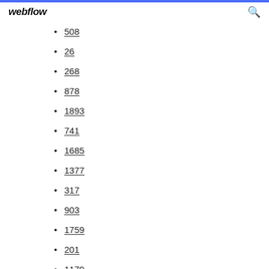webflow
508
26
268
878
1893
741
1685
1377
317
903
1759
201
1179